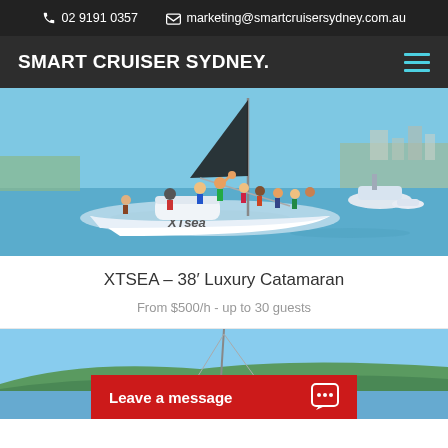02 9191 0357   marketing@smartcruisersydney.com.au
SMART CRUISER SYDNEY.
[Figure (photo): A group of people on a white catamaran named XTsea on Sydney Harbour, with boats and city in background]
XTSEA – 38′ Luxury Catamaran
From $500/h - up to 30 guests
[Figure (photo): Partial view of a sailing vessel mast against blue sky with green hillside in background]
Leave a message